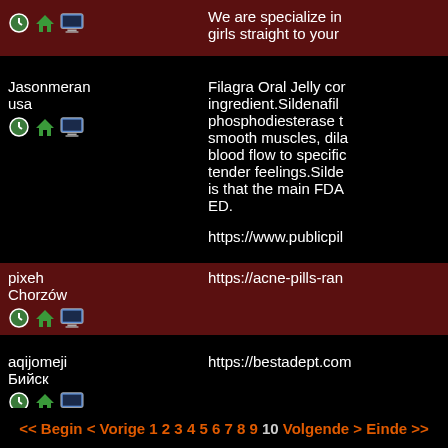We are specialize in girls straight to your
Jasonmeran
usa
Filagra Oral Jelly con ingredient.Sildenafil phosphodiesterase t smooth muscles, dil blood flow to specifi tender feelings.Silde is that the main FDA ED.
https://www.publicpil
pixeh
Chorzów
https://acne-pills-ran
aqijomeji
Фрыск
https://bestadept.com
<< Begin < Vorige 1 2 3 4 5 6 7 8 9 10 Volgende > Einde >>